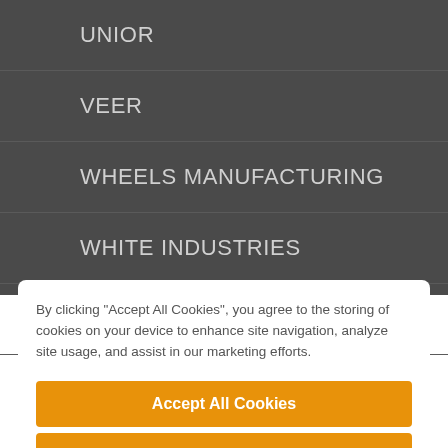UNIOR
VEER
WHEELS MANUFACTURING
WHITE INDUSTRIES
WOLF TOOTH
By clicking “Accept All Cookies”, you agree to the storing of cookies on your device to enhance site navigation, analyze site usage, and assist in our marketing efforts.
Accept All Cookies
Reject All